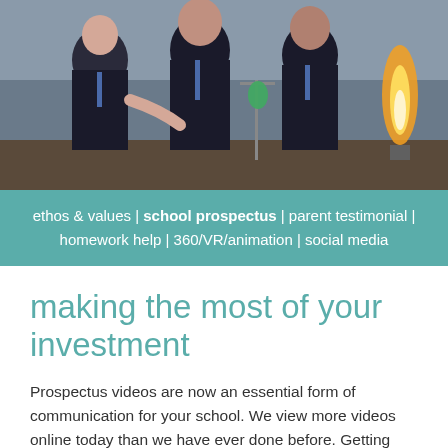[Figure (photo): Students in school science lab with Bunsen burner flame, wearing school uniforms with blue trim, conducting an experiment]
ethos & values | school prospectus | parent testimonial | homework help | 360/VR/animation | social media
making the most of your investment
Prospectus videos are now an essential form of communication for your school. We view more videos online today than we have ever done before. Getting your message across using video is quick, easy and direct. With a school prospectus